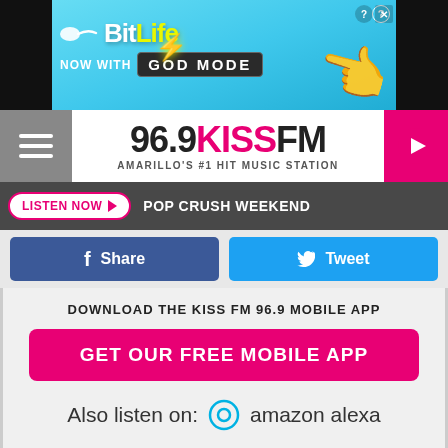[Figure (screenshot): BitLife ad banner: 'NOW WITH GOD MODE' on light blue background with hand emoji]
[Figure (logo): 96.9 KISS FM logo - Amarillo's #1 Hit Music Station with hamburger menu and play button]
LISTEN NOW ▶  POP CRUSH WEEKEND
Share
Tweet
DOWNLOAD THE KISS FM 96.9 MOBILE APP
GET OUR FREE MOBILE APP
Also listen on:  amazon alexa
[Figure (screenshot): GMR Web Team ad - Urgent Care Marketing with Contact Us button]